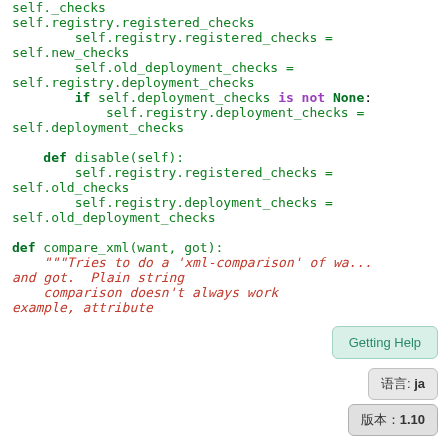Python code snippet showing class methods for registry management including disable() and compare_xml() functions with docstring